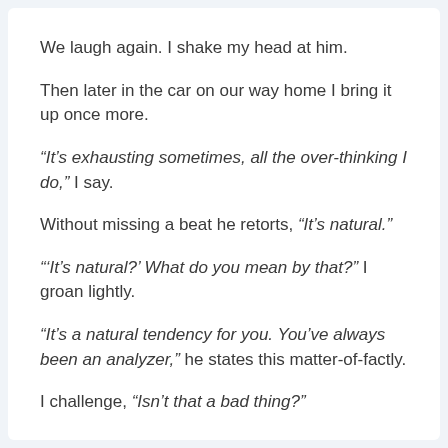We laugh again. I shake my head at him.
Then later in the car on our way home I bring it up once more.
“It’s exhausting sometimes, all the over-thinking I do,” I say.
Without missing a beat he retorts, “It’s natural.”
“‘It’s natural?’ What do you mean by that?” I groan lightly.
“It’s a natural tendency for you. You’ve always been an analyzer,” he states this matter-of-factly.
I challenge, “Isn’t that a bad thing?”